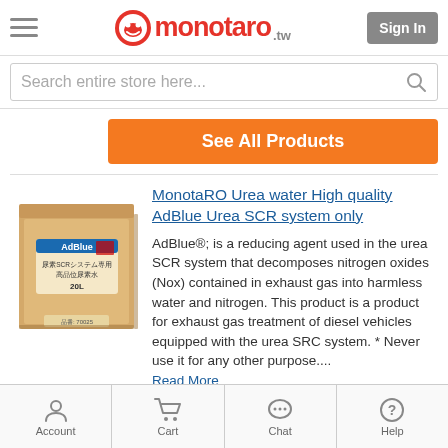monotaro.tw
Search entire store here...
See All Products
[Figure (photo): Product image of MonotaRO AdBlue Urea SCR system water in a cardboard box with Japanese text]
MonotaRO Urea water High quality AdBlue Urea SCR system only
AdBlue®; is a reducing agent used in the urea SCR system that decomposes nitrogen oxides (Nox) contained in exhaust gas into harmless water and nitrogen. This product is a product for exhaust gas treatment of diesel vehicles equipped with the urea SRC system. * Never use it for any other purpose.... Read More
Account  Cart  Chat  Help